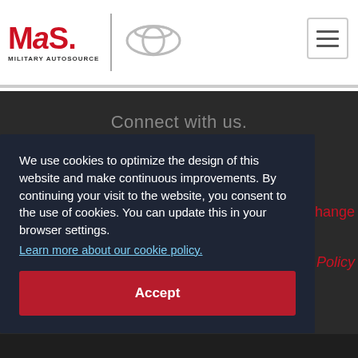[Figure (logo): MAS Military Autosource logo (red MAS text with 'MILITARY AUTOSOURCE' subtitle) next to a Toyota oval logo, with a hamburger menu button on the right]
Connect with us.
We use cookies to optimize the design of this website and make continuous improvements. By continuing your visit to the website, you consent to the use of cookies. You can update this in your browser settings.
Learn more about our cookie policy.
Accept